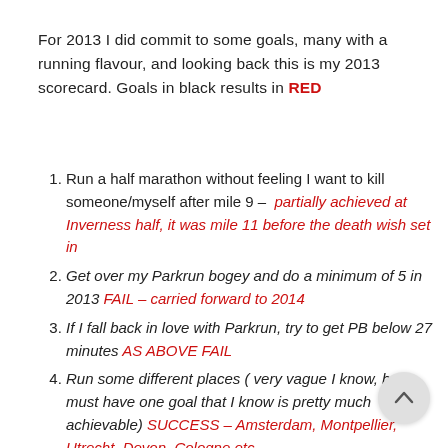For 2013 I did commit to some goals, many with a running flavour, and looking back this is my 2013 scorecard. Goals in black results in RED
Run a half marathon without feeling I want to kill someone/myself after mile 9 – partially achieved at Inverness half, it was mile 11 before the death wish set in
Get over my Parkrun bogey and do a minimum of 5 in 2013 FAIL – carried forward to 2014
If I fall back in love with Parkrun, try to get PB below 27 minutes AS ABOVE FAIL
Run some different places ( very vague I know, but I must have one goal that I know is pretty much achievable) SUCCESS – Amsterdam, Montpellier, Utrecht, Devon, Cologne etc
Start reading books again and read a minimum of